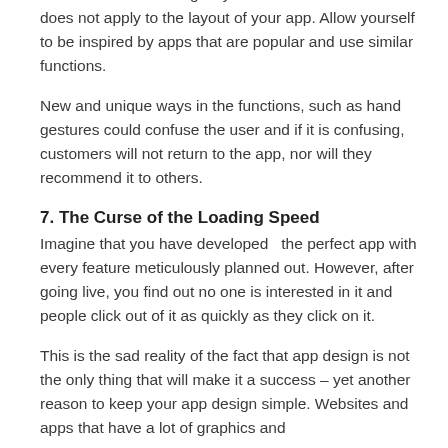environments is finding ways to stand out but this rule does not apply to the layout of your app. Allow yourself to be inspired by apps that are popular and use similar functions.
New and unique ways in the functions, such as hand gestures could confuse the user and if it is confusing, customers will not return to the app, nor will they recommend it to others.
7.   The Curse of the Loading Speed
Imagine that you have developed  the perfect app with every feature meticulously planned out. However, after going live, you find out no one is interested in it and people click out of it as quickly as they click on it.
This is the sad reality of the fact that app design is not the only thing that will make it a success – yet another reason to keep your app design simple. Websites and apps that have a lot of graphics and